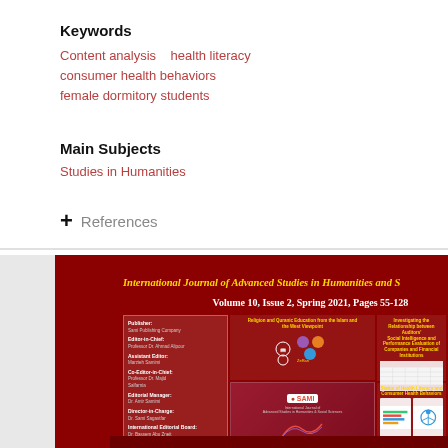Keywords
Content analysis   health literacy
consumer health behaviors
female dormitory students
Main Subjects
Studies in Humanities
+ References
[Figure (screenshot): Journal cover page of International Journal of Advanced Studies in Humanities and Social Sciences, Volume 10, Issue 2, Spring 2021, Pages 55-128, showing dark red background with article listings and editorial information]